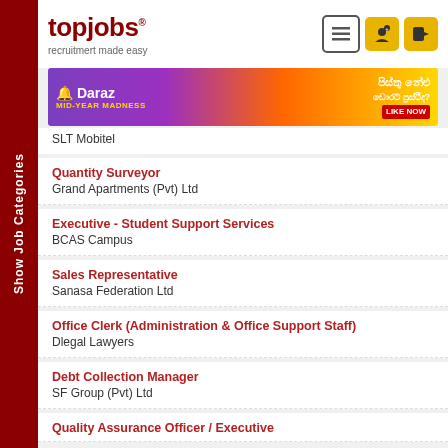topjobs® - recruitmert made easy
[Figure (illustration): Daraz Mid-Year Madness advertisement banner with purple/orange gradient background]
SLT Mobitel
Quantity Surveyor
Grand Apartments (Pvt) Ltd
Executive - Student Support Services
BCAS Campus
Sales Representative
Sanasa Federation Ltd
Office Clerk (Administration & Office Support Staff)
Dlegal Lawyers
Debt Collection Manager
SF Group (Pvt) Ltd
Quality Assurance Officer / Executive